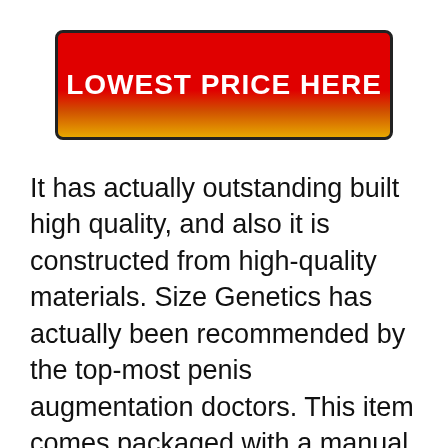[Figure (other): Red-to-orange gradient button with bold white text reading LOWEST PRICE HERE, bordered with a dark outline and rounded corners]
It has actually outstanding built high quality, and also it is constructed from high-quality materials. Size Genetics has actually been recommended by the top-most penis augmentation doctors. This item comes packaged with a manual script to route you on how to wear it. If you wish to experience maximum results, it is recommended that you wear it for 6 to 12 hrs daily. You can likewise gin efficient outcomes when you utilize it for 4 to 6 hours every day. To experience optimal gain, manufacturers suggest that you use it for 5 days of the